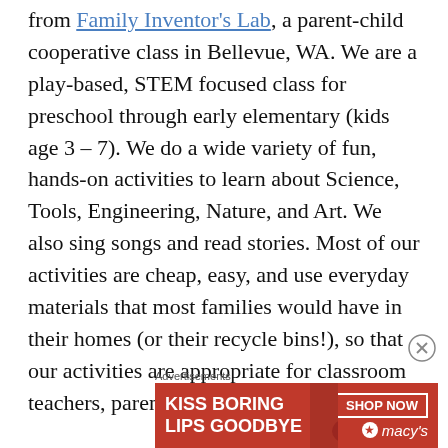from Family Inventor's Lab, a parent-child cooperative class in Bellevue, WA. We are a play-based, STEM focused class for preschool through early elementary (kids age 3 – 7). We do a wide variety of fun, hands-on activities to learn about Science, Tools, Engineering, Nature, and Art. We also sing songs and read stories. Most of our activities are cheap, easy, and use everyday materials that most families would have in their homes (or their recycle bins!), so that our activities are appropriate for classroom teachers, parents who homeschool, or after
Advertisements
[Figure (other): Advertisement banner for Macy's lipstick promotion: 'KISS BORING LIPS GOODBYE' with SHOP NOW button and Macy's star logo, red background with image of woman's lips]